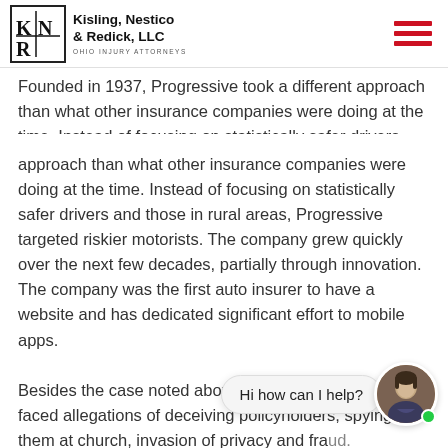Kisling, Nestico & Redick, LLC — Ohio Injury Attorneys
Founded in 1937, Progressive took a different approach than what other insurance companies were doing at the time. Instead of focusing on statistically safer drivers and those in rural areas, Progressive targeted riskier motorists. The company grew quickly over the next few decades, partially through innovation. The company was the first auto insurer to have a website and has dedicated significant effort to mobile apps.
Besides the case noted above, Progressive has also faced allegations of deceiving policyholders, spying on them at church, invasion of privacy and fra... The company was also... class action case brought by its own customers, who...